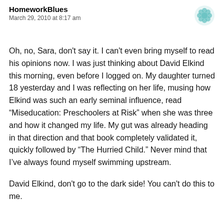HomewworkBlues
March 29, 2010 at 8:17 am
Oh, no, Sara, don't say it. I can't even bring myself to read his opinions now. I was just thinking about David Elkind this morning, even before I logged on. My daughter turned 18 yesterday and I was reflecting on her life, musing how Elkind was such an early seminal influence, read “Miseducation: Preschoolers at Risk” when she was three and how it changed my life. My gut was already heading in that direction and that book completely validated it, quickly followed by “The Hurried Child.” Never mind that I’ve always found myself swimming upstream.
David Elkind, don't go to the dark side! You can't do this to me.